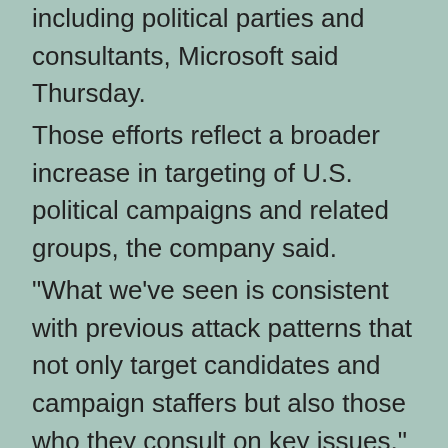including political parties and consultants, Microsoft said Thursday. Those efforts reflect a broader increase in targeting of U.S. political campaigns and related groups, the company said. "What we've seen is consistent with previous attack patterns that not only target candidates and campaign staffers but also those who they consult on key issues," Tom Burt, a Microsoft vice president, said in a blog post. U.S. political organizations were also probed, the company said. Most of the infiltration attempts by Russian,